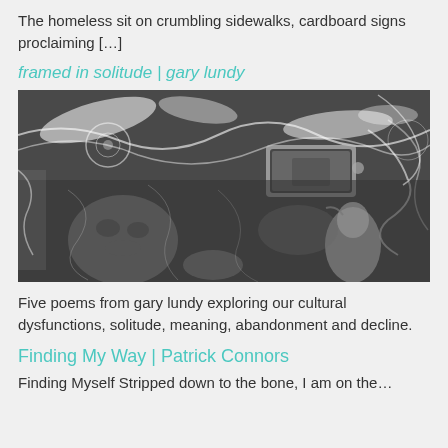The homeless sit on crumbling sidewalks, cardboard signs proclaiming […]
framed in solitude | gary lundy
[Figure (photo): Black and white abstract photograph showing distorted reflections, with swirling patterns, a rectangular object in the center, and bird-like shapes.]
Five poems from gary lundy exploring our cultural dysfunctions, solitude, meaning, abandonment and decline.
Finding My Way | Patrick Connors
Finding Myself Stripped down to the bone, I am on the…